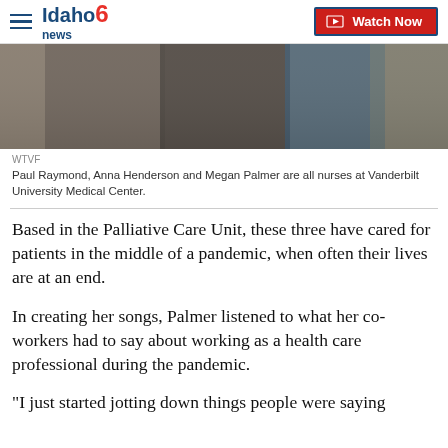Idaho News 6 — Watch Now
[Figure (photo): Three nurses seated together, one wearing a lanyard/badge, photographed for a news segment about Vanderbilt University Medical Center nurses.]
WTVF
Paul Raymond, Anna Henderson and Megan Palmer are all nurses at Vanderbilt University Medical Center.
Based in the Palliative Care Unit, these three have cared for patients in the middle of a pandemic, when often their lives are at an end.
In creating her songs, Palmer listened to what her co-workers had to say about working as a health care professional during the pandemic.
“I just started jotting down things people were saying